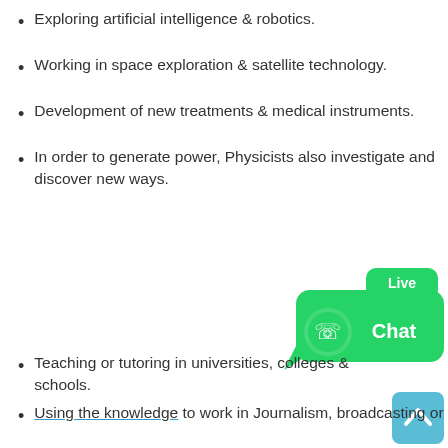Exploring artificial intelligence & robotics.
Working in space exploration & satellite technology.
Development of new treatments & medical instruments.
In order to generate power, Physicists also investigate and discover new ways.
[Figure (other): WhatsApp Live Chat widget — green speech bubble with WhatsApp logo and 'Live Chat' text]
[Figure (other): Scroll-to-top button — blue rounded square with upward chevron arrow]
Teaching or tutoring in universities, colleges & schools.
Using the knowledge to work in Journalism, broadcasting or